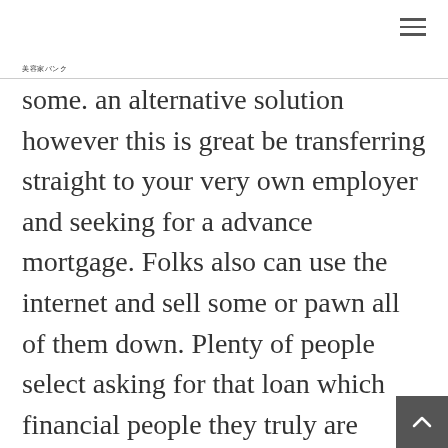美容家バンク
some. an alternative solution however this is great be transferring straight to your very own employer and seeking for a advance mortgage. Folks also can use the internet and sell some or pawn all of them down. Plenty of people select asking for that loan which financial people they truly are familiar with or group since theres zero fascination contains. Borrowing products from loan providers are in addition a poibility yet the vast majority valuable conserved for large requireme… and this number one…